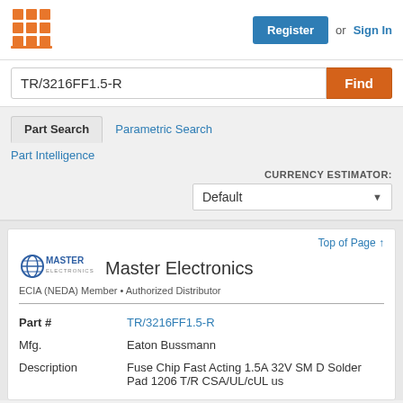[Figure (logo): Orange grid/matrix logo icon for a component search website]
Register  or  Sign In
TR/3216FF1.5-R
Find
Part Search
Parametric Search
Part Intelligence
CURRENCY ESTIMATOR: Default
Top of Page ↑
[Figure (logo): Master Electronics company logo with globe icon]
Master Electronics
ECIA (NEDA) Member • Authorized Distributor
| Field | Value |
| --- | --- |
| Part # | TR/3216FF1.5-R |
| Mfg. | Eaton Bussmann |
| Description | Fuse Chip Fast Acting 1.5A 32V SMD Solder Pad 1206 T/R CSA/UL/cULus |